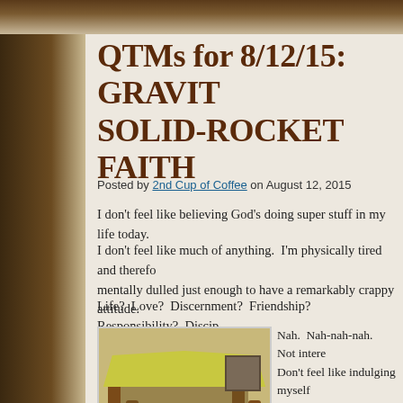QTMs for 8/12/15: GRAVITY SOLID-ROCKET FAITH
Posted by 2nd Cup of Coffee on August 12, 2015
I don't feel like believing God's doing super stuff in my life today.
I don't feel like much of anything.  I'm physically tired and therefore mentally dulled just enough to have a remarkably crappy attitude.
Life?  Love?  Discernment?  Friendship?  Responsibility?  Discip
[Figure (photo): Child sitting inside a blanket fort made from chairs and tables covered with yellow/green fabric, photographed in a living room]
Nah.  Nah-nah-nah.  Not intere Don't feel like indulging myself it.  In fact, I don't care right now adult again.  The most challeng might pull off today is to build a neighbor's 3-year-old, make pb retire.